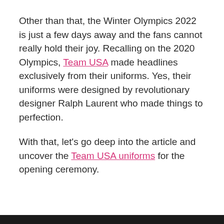Other than that, the Winter Olympics 2022 is just a few days away and the fans cannot really hold their joy. Recalling on the 2020 Olympics, Team USA made headlines exclusively from their uniforms. Yes, their uniforms were designed by revolutionary designer Ralph Laurent who made things to perfection.
With that, let's go deep into the article and uncover the Team USA uniforms for the opening ceremony.